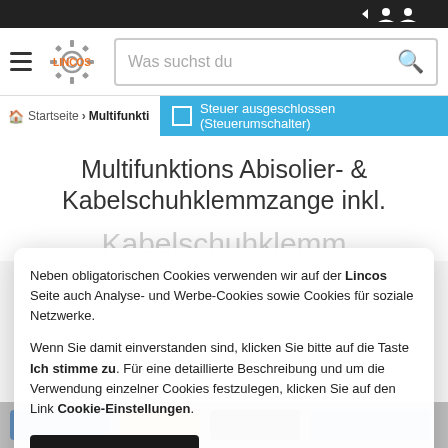Status bar with icons
[Figure (screenshot): LINCOS logo with gear icon and orange text]
Was suchst du
Startseite > Multifunktions... | Steuer ausgeschlossen (Steuerumschalter)
Multifunktions Abisolier- & Kabelschuhklemmzange inkl.
Neben obligatorischen Cookies verwenden wir auf der Lincos Seite auch Analyse- und Werbe-Cookies sowie Cookies für soziale Netzwerke.

Wenn Sie damit einverstanden sind, klicken Sie bitte auf die Taste Ich stimme zu. Für eine detaillierte Beschreibung und um die Verwendung einzelner Cookies festzulegen, klicken Sie auf den Link Cookie-Einstellungen.
ICH STIMME ZU
COOKIE-EINSTELLUNGEN